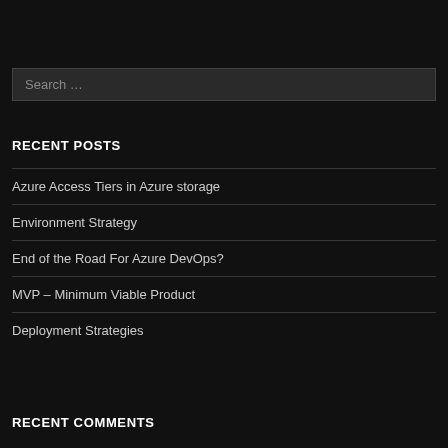Search …
RECENT POSTS
Azure Access Tiers in Azure storage
Environment Strategy
End of the Road For Azure DevOps?
MVP – Minimum Viable Product
Deployment Strategies
RECENT COMMENTS